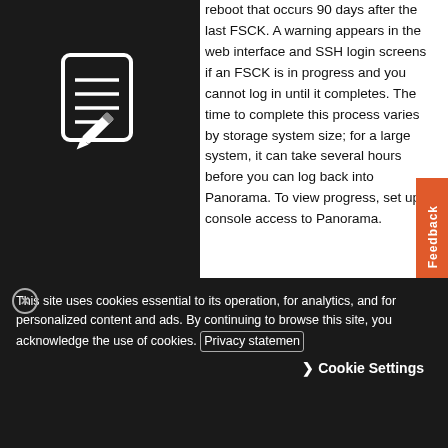[Figure (illustration): White notepad/document icon with pencil on dark background panel]
reboot that occurs 90 days after the last FSCK. A warning appears in the web interface and SSH login screens if an FSCK is in progress and you cannot log in until it completes. The time to complete this process varies by storage system size; for a large system, it can take several hours before you can log back into Panorama. To view progress, set up console access to Panorama.
Release Notes   If Panorama has access to the Internet, you can access the Release Notes for the desired
This site uses cookies essential to its operation, for analytics, and for personalized content and ads. By continuing to browse this site, you acknowledge the use of cookies. Privacy statement
Cookie Settings